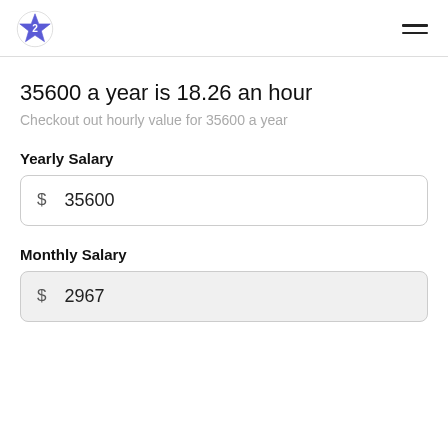35600 a year is 18.26 an hour
35600 a year is 18.26 an hour
Checkout out hourly value for 35600 a year
Yearly Salary
$ 35600
Monthly Salary
$ 2967